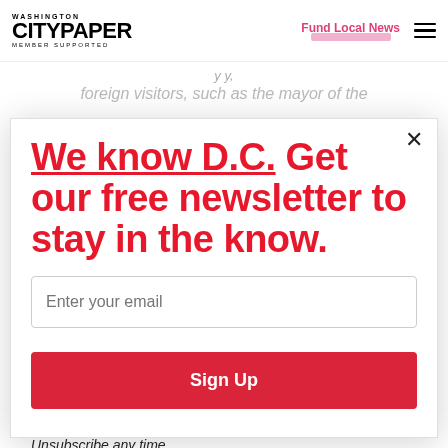WASHINGTON CITYPAPER MEMBER SUPPORTED | Fund Local News
foreign visitors, such as the mayor of the
We know D.C. Get our free newsletter to stay in the know.
Enter your email
Sign Up
Unsubscribe any time.